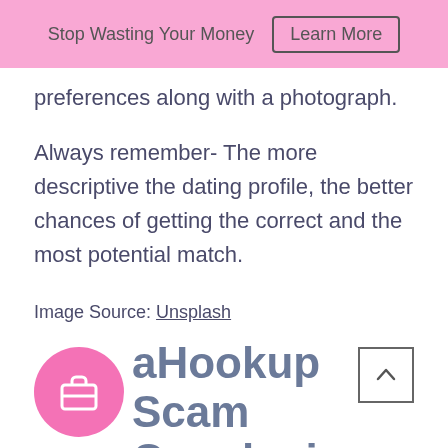Stop Wasting Your Money  Learn More
preferences along with a photograph.
Always remember- The more descriptive the dating profile, the better chances of getting the correct and the most potential match.
Image Source: Unsplash
aHookup Scam Conclusion